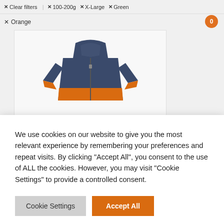✕ Clear filters  ✕ 100-200g  ✕ X-Large  ✕ Green
✕ Orange
[Figure (photo): Navy and orange Halo+ Jacket product photo on white background]
Halo+ Jacket
£140.00
We use cookies on our website to give you the most relevant experience by remembering your preferences and repeat visits. By clicking “Accept All”, you consent to the use of ALL the cookies. However, you may visit “Cookie Settings” to provide a controlled consent.
Cookie Settings  Accept All